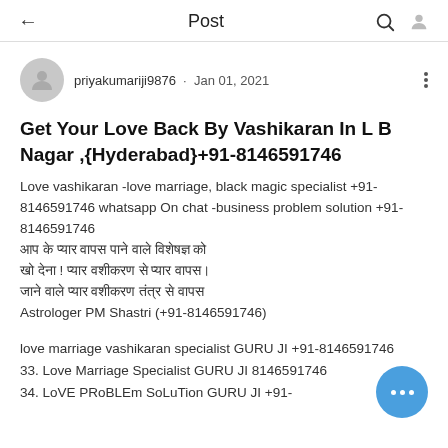Post
priyakumariji9876 · Jan 01, 2021
Get Your Love Back By Vashikaran In L B Nagar ,{Hyderabad}+91-8146591746
Love vashikaran -love marriage, black magic specialist +91-8146591746 whatsapp On chat -business problem solution +91-8146591746 [Hindi text] Astrologer PM Shastri (+91-8146591746)
love marriage vashikaran specialist GURU JI +91-8146591746
33. Love Marriage Specialist GURU JI 8146591746
34. LoVE PRoBLEm SoLuTion GURU JI +91-